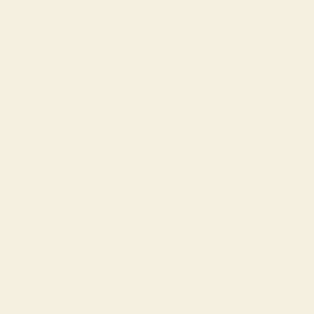[Figure (map): Satellite map of Kingston, Jamaica showing neighborhoods: Richmond Park, New Kingston, Kencot, Cross Roads, Vineyard, Trench Town, Allman Town, with Independence Park marker and Kingston Public Hospital marker visible.]
<iframe width="300" height="250" frameborder="0" scrolling="no" marginheight="0" marginwidth="0"
large Kingston Car Rental link
[Figure (map): Satellite map of Kingston, Jamaica showing Bob Marley Museum, Kingston city label, Hope Rd, Old Hope Rd, Ligua, New Kingston, Richmond Park, Kencot, with a green location marker.]